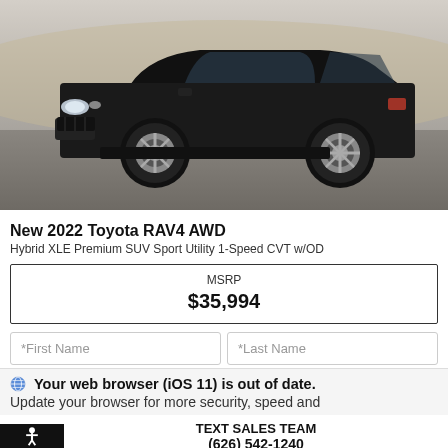[Figure (photo): Side profile photo of a black 2022 Toyota RAV4 AWD Hybrid SUV parked on a road with dry grass/landscape in background]
New 2022 Toyota RAV4 AWD
Hybrid XLE Premium SUV Sport Utility 1-Speed CVT w/OD
| MSRP | $35,994 |
*First Name    *Last Name
Your web browser (iOS 11) is out of date. Update your browser for more security, speed and
TEXT SALES TEAM
(626) 542-1240